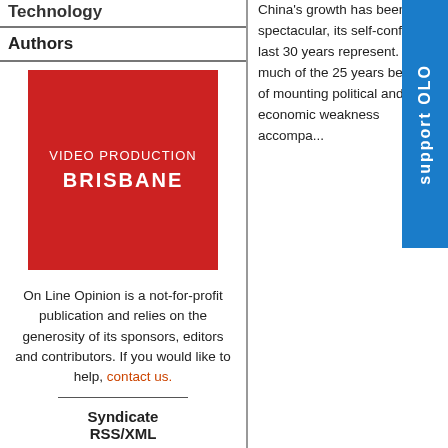Technology
Authors
[Figure (photo): Red advertisement box for Video Production Brisbane]
On Line Opinion is a not-for-profit publication and relies on the generosity of its sponsors, editors and contributors. If you would like to help, contact us.
Syndicate RSS/XML
[Figure (logo): RSS 2.0 badge]
China's growth has been so spectacular, its self-confidence... last 30 years represent. For much of the 25 years befo... of mounting political and economic weakness accompa...
The fall of the Qing Empire in 1912 was followed by warlordism, government in Nanjing. Japanese intrusion stretched from the 1937 to 1945, and then the often brutal and increasingly erratic Revolution.
Against that background, the process launched by Deng after could only be a welcome change for hundreds of millions of Ch... ... political liberalisation. No, what China is...